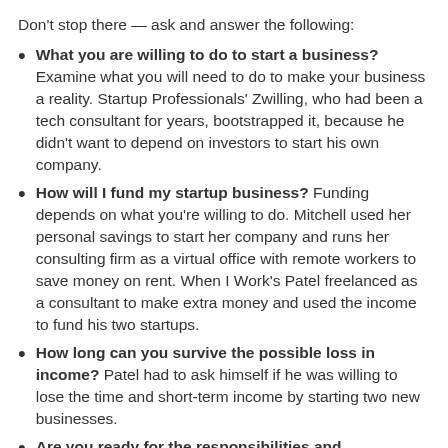Don't stop there — ask and answer the following:
What you are willing to do to start a business? Examine what you will need to do to make your business a reality. Startup Professionals' Zwilling, who had been a tech consultant for years, bootstrapped it, because he didn't want to depend on investors to start his own company.
How will I fund my startup business? Funding depends on what you're willing to do. Mitchell used her personal savings to start her company and runs her consulting firm as a virtual office with remote workers to save money on rent. When I Work's Patel freelanced as a consultant to make extra money and used the income to fund his two startups.
How long can you survive the possible loss in income? Patel had to ask himself if he was willing to lose the time and short-term income by starting two new businesses.
Are you ready for the responsibilities and